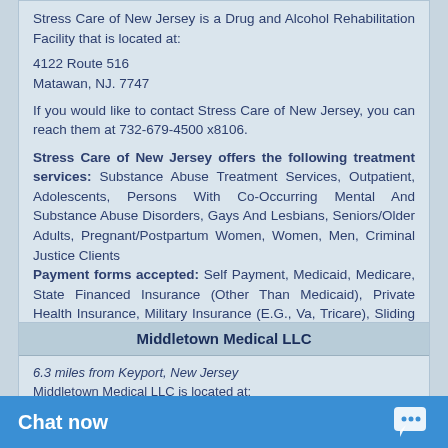Stress Care of New Jersey is a Drug and Alcohol Rehabilitation Facility that is located at:
4122 Route 516
Matawan, NJ. 7747
If you would like to contact Stress Care of New Jersey, you can reach them at 732-679-4500 x8106.
Stress Care of New Jersey offers the following treatment services: Substance Abuse Treatment Services, Outpatient, Adolescents, Persons With Co-Occurring Mental And Substance Abuse Disorders, Gays And Lesbians, Seniors/Older Adults, Pregnant/Postpartum Women, Women, Men, Criminal Justice Clients
Payment forms accepted: Self Payment, Medicaid, Medicare, State Financed Insurance (Other Than Medicaid), Private Health Insurance, Military Insurance (E.G., Va, Tricare), Sliding Fee Scale (Fee Is Based On Income And Other Factors)
Middletown Medical LLC
6.3 miles from Keyport, New Jersey
Middletown Medical LLC is located at: